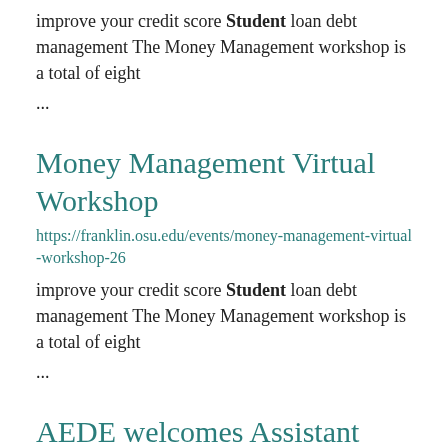improve your credit score Student loan debt management The Money Management workshop is a total of eight ...
Money Management Virtual Workshop
https://franklin.osu.edu/events/money-management-virtual-workshop-26
improve your credit score Student loan debt management The Money Management workshop is a total of eight ...
AEDE welcomes Assistant